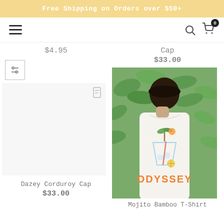Free Shipping on Orders over $50+
[Figure (screenshot): Navigation bar with hamburger menu icon on left, search and cart icons on right. Cart shows badge with 0.]
$4.95
Cap
$33.00
[Figure (other): Filter/sort icon button (sliders icon)]
[Figure (photo): Empty product image area for Dazey Corduroy Cap with a list/wishlist icon]
[Figure (photo): Photo of a man wearing a white Odyssey Mojito Bamboo T-Shirt showing the back graphic of a mojito drink with ODYSSEY text in orange]
Dazey Corduroy Cap
$33.00
Mojito Bamboo T-Shirt